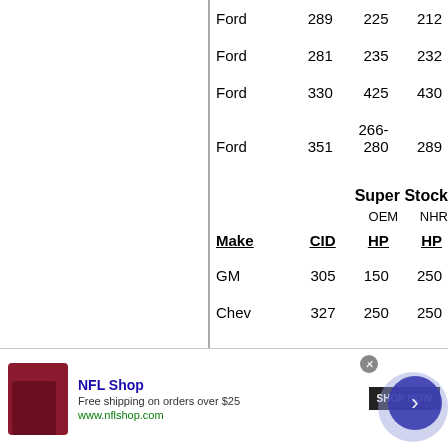| Make | CID | HP | HP |
| --- | --- | --- | --- |
| Ford | 289 | 225 | 212 |
| Ford | 281 | 235 | 232 |
| Ford | 330 | 425 | 430 |
| Ford | 351 | 266-280 | 289 |
Super Stock
OEM     NHR
| Make | CID | HP | HP |
| --- | --- | --- | --- |
| GM | 305 | 150 | 250 |
| Chev | 327 | 250 | 250 |